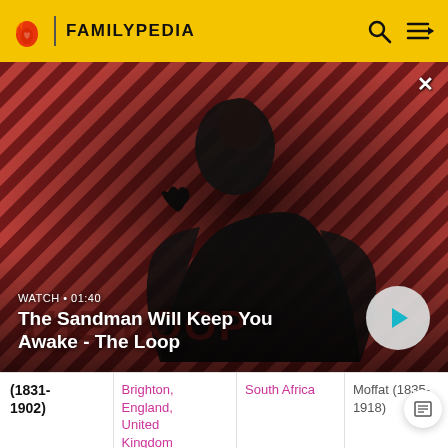FAMILYPEDIA
[Figure (screenshot): Video thumbnail showing a man in black coat with a raven on his shoulder against a red and black diagonal striped background, with The Loop text visible. Overlay shows video title 'The Sandman Will Keep You Awake - The Loop', WATCH • 01:40 label, and a play button.]
| (1831-1902) | Brighton, England, United Kingdom (Sussex) | South Africa | Moffat (1835-1918) |